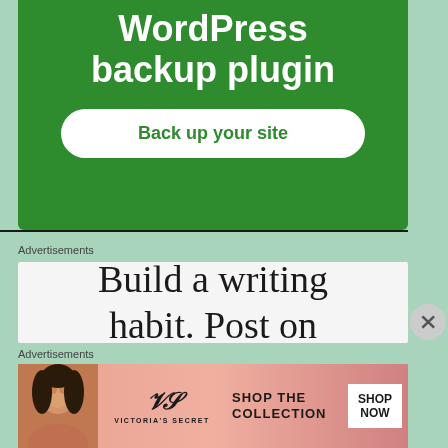[Figure (screenshot): Green advertisement banner for a WordPress backup plugin with white bold title text 'WordPress backup plugin' and a white rounded button labeled 'Back up your site' in green text]
Advertisements
[Figure (screenshot): White advertisement box showing serif text 'Build a writing habit. Post on' in large dark font]
Advertisements
[Figure (screenshot): Victoria's Secret advertisement banner with pink gradient background, model photo on left, Victoria's Secret logo in center, 'SHOP THE COLLECTION' text, and 'SHOP NOW' white button on right]